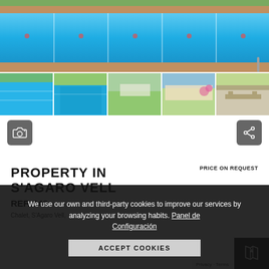[Figure (photo): Large swimming pool photo at the top, showing blue water with lane dividers, terracotta surroundings]
[Figure (photo): Strip of 5 thumbnail photos showing property views: pool, garden, exterior, terrace with flowers, outdoor seating]
[Figure (screenshot): Camera icon button (grey square with camera icon)]
[Figure (screenshot): Share icon button (grey square with share icon)]
PROPERTY IN S'AGARO VELL
PRICE ON REQUEST
REF. 148
Chalet, S'Agaro Vell,
We use our own and third-party cookies to improve our services by analyzing your browsing habits. Panel de Configuración
ACCEPT COOKIES
Privacy · Terms